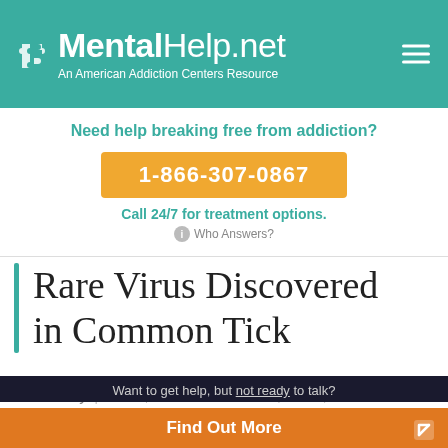MentalHelp.net — An American Addiction Centers Resource
Need help breaking free from addiction?
1-866-307-0867
Call 24/7 for treatment options.
Who Answers?
Rare Virus Discovered in Common Tick
HealthDay | NEWS | BY – ROBERT PREIDT | JAN 16, 2015
Want to get help, but not ready to talk?
Find Out More